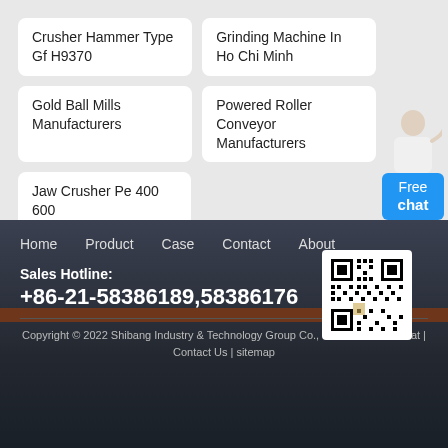Crusher Hammer Type Gf H9370
Grinding Machine In Ho Chi Minh
Gold Ball Mills Manufacturers
Powered Roller Conveyor Manufacturers
Jaw Crusher Pe 400 600
Home    Product    Case    Contact    About
Sales Hotline:
+86-21-58386189,58386176
Copyright © 2022 Shibang Industry & Technology Group Co., Ltd.      Online Chat | Contact Us | sitemap